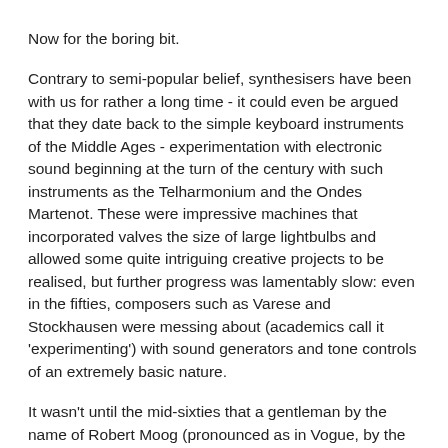Now for the boring bit.
Contrary to semi-popular belief, synthesisers have been with us for rather a long time - it could even be argued that they date back to the simple keyboard instruments of the Middle Ages - experimentation with electronic sound beginning at the turn of the century with such instruments as the Telharmonium and the Ondes Martenot. These were impressive machines that incorporated valves the size of large lightbulbs and allowed some quite intriguing creative projects to be realised, but further progress was lamentably slow: even in the fifties, composers such as Varese and Stockhausen were messing about (academics call it 'experimenting') with sound generators and tone controls of an extremely basic nature.
It wasn't until the mid-sixties that a gentleman by the name of Robert Moog (pronounced as in Vogue, by the way) produced the first instrument we'd recognise today as a synthesiser. He succeeded in assembling a complete synthesiser system